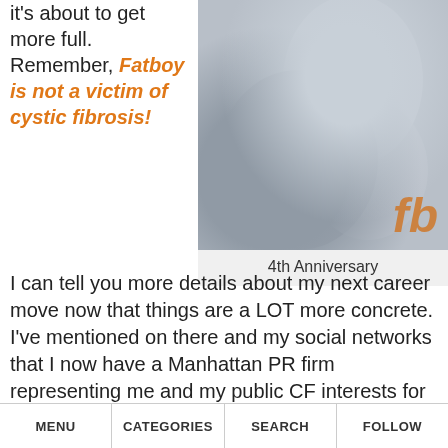it's about to get more full. Remember, Fatboy is not a victim of cystic fibrosis!
[Figure (photo): Photo of two people embracing, one wearing a grey t-shirt, with 'fb' watermark in orange italic in the lower right corner]
4th Anniversary
I can tell you more details about my next career move now that things are a LOT more concrete. I've mentioned on there and my social networks that I now have a Manhattan PR firm representing me and my public CF interests for advocacy, awareness, internal and external publications, websites, product testing/reviews, media coverage, and public speaking. That got me pretty
MENU   CATEGORIES   SEARCH   FOLLOW